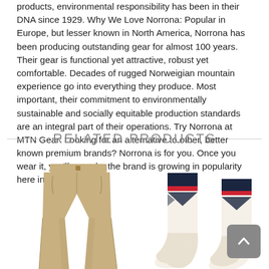products, environmental responsibility has been in their DNA since 1929. Why We Love Norrona: Popular in Europe, but lesser known in North America, Norrona has been producing outstanding gear for almost 100 years. Their gear is functional yet attractive, robust yet comfortable. Decades of rugged Norweigian mountain experience go into everything they produce. Most important, their commitment to environmentally sustainable and socially equitable production standards are an integral part of their operations. Try Norrona at MTN Gear: Looking for an alternative to other, better known premium brands? Norrona is for you. Once you wear it, you'll see why the brand is growing in popularity here in North America.
RELATED PRODUCTS
[Figure (photo): Tan/khaki outdoor pants product photo]
[Figure (photo): Patterned outdoor socks product photo with dark navy and red/crimson pattern on cream background]